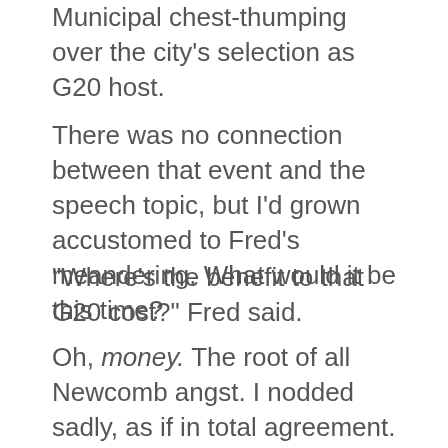the street. Pittsburgh Welcomes the World. Municipal chest-thumping over the city's selection as G20 host.
There was no connection between that event and the speech topic, but I'd grown accustomed to Fred's meandering. What would it be this time?
“Where’s the benefit to that G20 cost?” Fred said.
Oh, money. The root of all Newcomb angst. I nodded sadly, as if in total agreement.